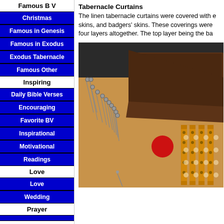Famous B V
Christmas
Famous in Genesis
Famous in Exodus
Exodus Tabernacle
Famous Other
Inspiring
Daily Bible Verses
Encouraging
Favorite BV
Inspirational
Motivational
Readings
Love
Love
Wedding
Prayer
Tabernacle Curtains
The linen tabernacle curtains were covered with e skins, and badgers' skins. These coverings were four layers altogether. The top layer being the ba
[Figure (photo): A physical model of the Exodus Tabernacle showing the layered curtains, tent pegs, and interior columns/pillars with decorative coverings.]